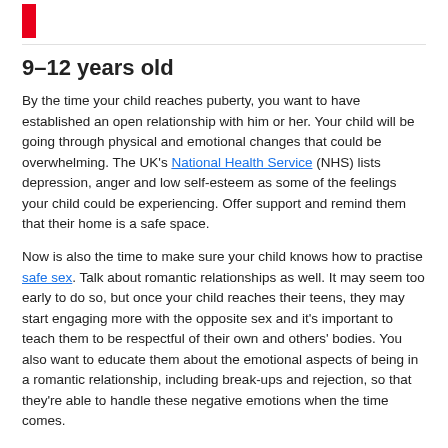9–12 years old
By the time your child reaches puberty, you want to have established an open relationship with him or her. Your child will be going through physical and emotional changes that could be overwhelming. The UK's National Health Service (NHS) lists depression, anger and low self-esteem as some of the feelings your child could be experiencing. Offer support and remind them that their home is a safe space.
Now is also the time to make sure your child knows how to practise safe sex. Talk about romantic relationships as well. It may seem too early to do so, but once your child reaches their teens, they may start engaging more with the opposite sex and it's important to teach them to be respectful of their own and others' bodies. You also want to educate them about the emotional aspects of being in a romantic relationship, including break-ups and rejection, so that they're able to handle these negative emotions when the time comes.
As they become more interested in romantic relationships, they'll start questioning their gender and sexual orientation. Remain open